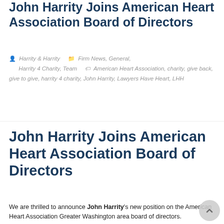John Harrity Joins American Heart Association Board of Directors
Harrity & Harrity   Firm News, General, Harrity 4 Charity, Team   American Heart Association, charity, give back, give to give, harrity 4 charity, John Harrity, Lawyers Have Heart, LHH
John Harrity Joins American Heart Association Board of Directors
We are thrilled to announce John Harrity's new position on the American Heart Association Greater Washington area board of directors.